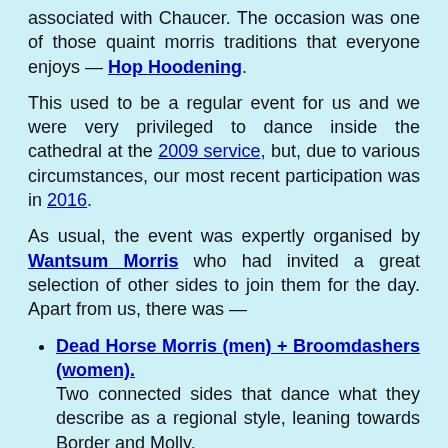associated with Chaucer. The occasion was one of those quaint morris traditions that everyone enjoys — Hop Hoodening.
This used to be a regular event for us and we were very privileged to dance inside the cathedral at the 2009 service, but, due to various circumstances, our most recent participation was in 2016.
As usual, the event was expertly organised by Wantsum Morris who had invited a great selection of other sides to join them for the day. Apart from us, there was —
Dead Horse Morris (men) + Broomdashers (women). Two connected sides that dance what they describe as a regional style, leaning towards Border and Molly.
East Kent Morris. A Cotswold side from Mersham, near Ashford. They have a long and illustrious history and are former organisers of Hop Hoodening.
Headcorn Morris (men & women).